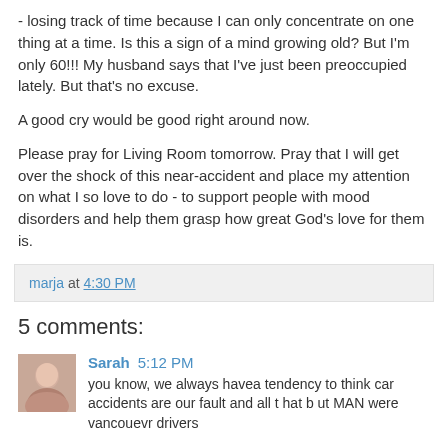- losing track of time because I can only concentrate on one thing at a time. Is this a sign of a mind growing old? But I'm only 60!!! My husband says that I've just been preoccupied lately. But that's no excuse.

A good cry would be good right around now.

Please pray for Living Room tomorrow. Pray that I will get over the shock of this near-accident and place my attention on what I so love to do - to support people with mood disorders and help them grasp how great God's love for them is.
marja at 4:30 PM
5 comments:
Sarah 5:12 PM
you know, we always havea tendency to think car accidents are our fault and all t hat b ut MAN were vancouevr drivers